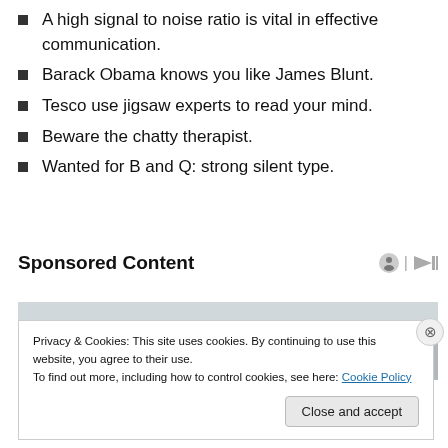A high signal to noise ratio is vital in effective communication.
Barack Obama knows you like James Blunt.
Tesco use jigsaw experts to read your mind.
Beware the chatty therapist.
Wanted for B and Q: strong silent type.
Sponsored Content
[Figure (photo): Partial photo of people with dark hair against a light sky, partially obscured by a cookie consent banner.]
Privacy & Cookies: This site uses cookies. By continuing to use this website, you agree to their use.
To find out more, including how to control cookies, see here: Cookie Policy